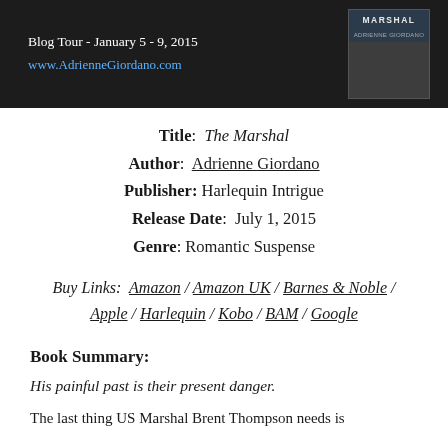[Figure (other): Blog tour banner with dark background. Text reads 'Blog Tour - January 5 - 9, 2015' and 'www.AdrienneGiordano.com'. A book cover image for 'The Marshal' by Adrienne Giordano is on the right.]
Title: The Marshal
Author: Adrienne Giordano
Publisher: Harlequin Intrigue
Release Date: July 1, 2015
Genre: Romantic Suspense
Buy Links: Amazon / Amazon UK / Barnes & Noble / Apple / Harlequin / Kobo / BAM / Google
Book Summary:
His painful past is their present danger.
The last thing US Marshal Brent Thompson needs is